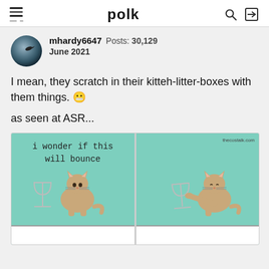polk
mhardy6647  Posts: 30,129  June 2021
I mean, they scratch in their kitteh-litter-boxes with them things. 😬
as seen at ASR...
[Figure (illustration): Two-panel comic strip showing a cartoon cat sitting on a table with a wine glass. Left panel: cat looking at glass with text 'i wonder if this will bounce'. Right panel: cat pushing the glass with its paw. Watermark: thecostalk.com]